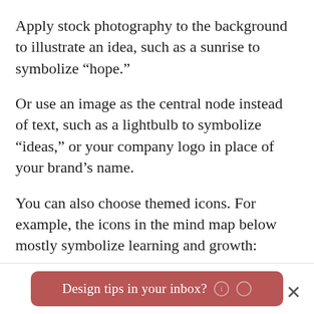Apply stock photography to the background to illustrate an idea, such as a sunrise to symbolize “hope.”
Or use an image as the central node instead of text, such as a lightbulb to symbolize “ideas,” or your company logo in place of your brand’s name.
You can also choose themed icons. For example, the icons in the mind map below mostly symbolize learning and growth:
Design tips in your inbox?